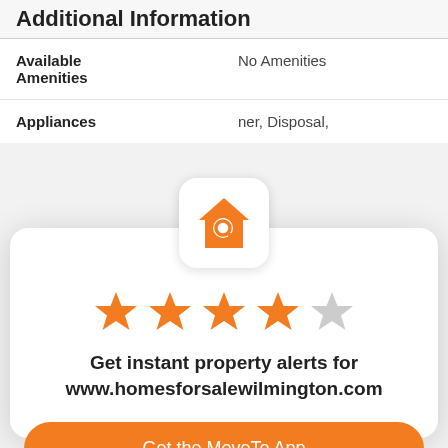Additional Information
| Available Amenities | No Amenities |
| Appliances | ner, Disposal, |
[Figure (logo): Orange house with magnifying glass app icon on white rounded square background]
[Figure (other): 4 out of 5 orange stars rating]
Get instant property alerts for www.homesforsalewilmington.com
Get the MoveTo App
Not Now